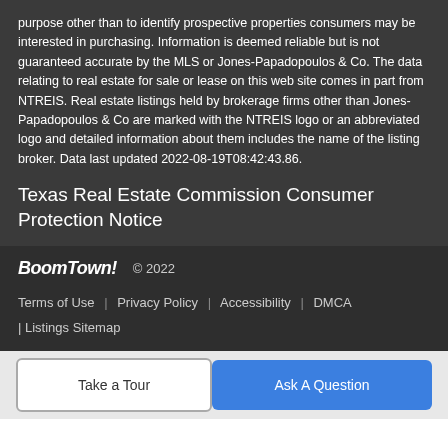purpose other than to identify prospective properties consumers may be interested in purchasing. Information is deemed reliable but is not guaranteed accurate by the MLS or Jones-Papadopoulos & Co. The data relating to real estate for sale or lease on this web site comes in part from NTREIS. Real estate listings held by brokerage firms other than Jones-Papadopoulos & Co are marked with the NTREIS logo or an abbreviated logo and detailed information about them includes the name of the listing broker. Data last updated 2022-08-19T08:42:43.86.
Texas Real Estate Commission Consumer Protection Notice
BoomTown! © 2022
Terms of Use | Privacy Policy | Accessibility | DMCA | Listings Sitemap
Take a Tour
Ask A Question